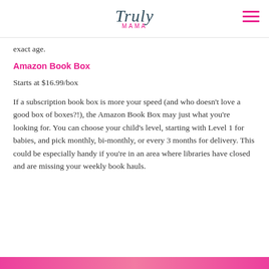Truly mama
exact age.
Amazon Book Box
Starts at $16.99/box
If a subscription book box is more your speed (and who doesn't love a good box of boxes?!), the Amazon Book Box may just what you're looking for. You can choose your child's level, starting with Level 1 for babies, and pick monthly, bi-monthly, or every 3 months for delivery. This could be especially handy if you're in an area where libraries have closed and are missing your weekly book hauls.